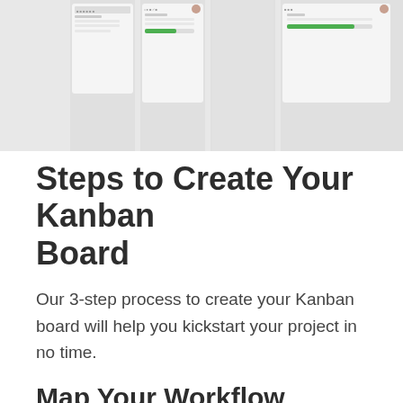[Figure (screenshot): Screenshot of a Kanban board interface showing multiple columns with task cards, some with user avatars and progress bars]
Steps to Create Your Kanban Board
Our 3-step process to create your Kanban board will help you kickstart your project in no time.
Map Your Workflow
Before you get excited on putting up your Kanban board, you need to first identify the steps that would actually make up your board. While a simple To Do-In Progress-Done Kanban board can work, it won't be as effective in giving insights to the way you do your work. If the workflow in your board is